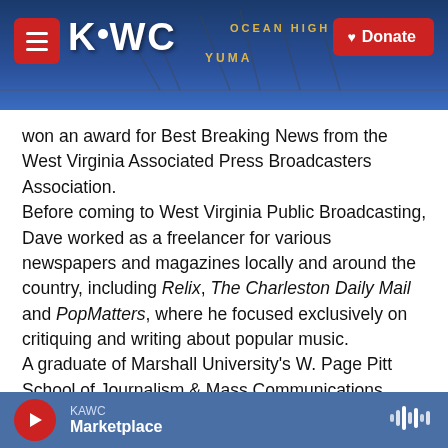[Figure (screenshot): KAWC radio station website header banner showing KAWC logo on left, hamburger menu button, Donate button on right, with background image of a roller coaster structure with 'OCEAN HIGH' and 'YUMA' text visible]
won an award for Best Breaking News from the West Virginia Associated Press Broadcasters Association.
Before coming to West Virginia Public Broadcasting, Dave worked as a freelancer for various newspapers and magazines locally and around the country, including Relix, The Charleston Daily Mail and PopMatters, where he focused exclusively on critiquing and writing about popular music.
A graduate of Marshall University's W. Page Pitt School of Journalism & Mass Communications, Dave holds a Bachelor of Arts in Radio-Television Production & Management.  He is also finishing a Master of Arts Journalism degree there and is hopelessly trying to
KAWC
Marketplace